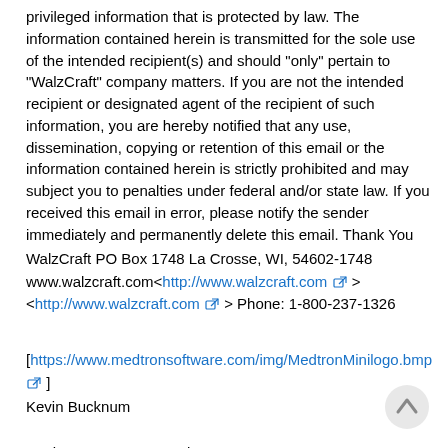privileged information that is protected by law. The information contained herein is transmitted for the sole use of the intended recipient(s) and should "only" pertain to "WalzCraft" company matters. If you are not the intended recipient or designated agent of the recipient of such information, you are hereby notified that any use, dissemination, copying or retention of this email or the information contained herein is strictly prohibited and may subject you to penalties under federal and/or state law. If you received this email in error, please notify the sender immediately and permanently delete this email. Thank You
WalzCraft PO Box 1748 La Crosse, WI, 54602-1748 www.walzcraft.com<http://www.walzcraft.com> <http://www.walzcraft.com> Phone: 1-800-237-1326
[https://www.medtronsoftware.com/img/MedtronMinilogo.bmp] Kevin Bucknum

Senior Programmer Analyst

MEDDATA / MEDTRON